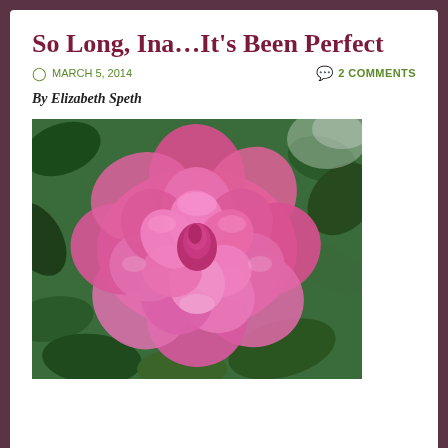So Long, Ina…It's Been Perfect
MARCH 5, 2014   2 COMMENTS
By Elizabeth Speth
[Figure (photo): Close-up photo of a large pink camellia flower in full bloom with green leaves in the background]